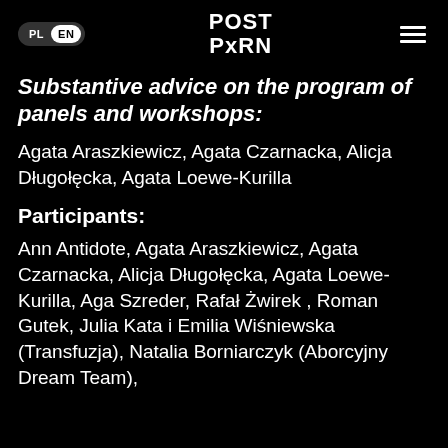PL EN | POST PxRN
Substantive advice on the program of panels and workshops:
Agata Araszkiewicz, Agata Czarnacka, Alicja Długołęcka, Agata Loewe-Kurilla
Participants:
Ann Antidote, Agata Araszkiewicz, Agata Czarnacka, Alicja Długołęcka, Agata Loewe-Kurilla, Aga Szreder, Rafał Żwirek , Roman Gutek, Julia Kata i Emilia Wiśniewska (Transfuzja), Natalia Borniarczyk (Aborcyjny Dream Team),